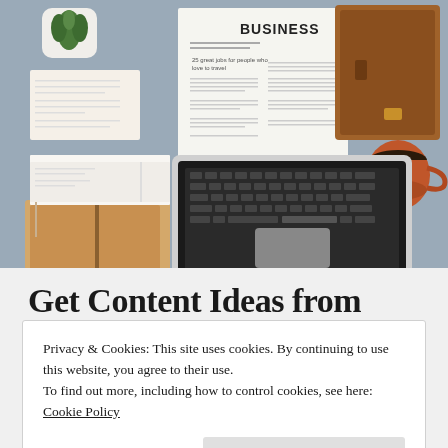[Figure (photo): Overhead flat-lay photo of a business desk with laptop, newspaper with BUSINESS headline, leather portfolio, notebook, papers, pen, clipboard with invoice, smartphone, glasses, succulent plant, and coffee mug on a grey-blue surface.]
Get Content Ideas from
Privacy & Cookies: This site uses cookies. By continuing to use this website, you agree to their use.
To find out more, including how to control cookies, see here: Cookie Policy
Close and accept